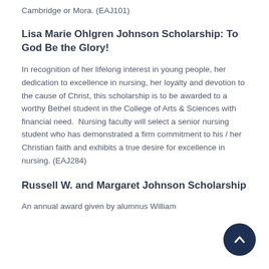Cambridge or Mora. (EAJ101)
Lisa Marie Ohlgren Johnson Scholarship: To God Be the Glory!
In recognition of her lifelong interest in young people, her dedication to excellence in nursing, her loyalty and devotion to the cause of Christ, this scholarship is to be awarded to a worthy Bethel student in the College of Arts & Sciences with financial need.  Nursing faculty will select a senior nursing student who has demonstrated a firm commitment to his / her Christian faith and exhibits a true desire for excellence in nursing. (EAJ284)
Russell W. and Margaret Johnson Scholarship
An annual award given by alumnus William